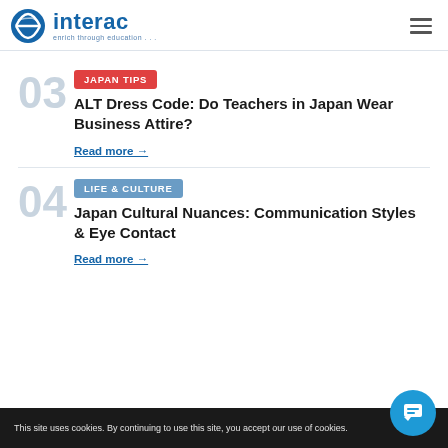interac — enrich through education
03 — JAPAN TIPS — ALT Dress Code: Do Teachers in Japan Wear Business Attire? Read more →
04 — LIFE & CULTURE — Japan Cultural Nuances: Communication Styles & Eye Contact Read more →
This site uses cookies. By continuing to use this site, you accept our use of cookies.